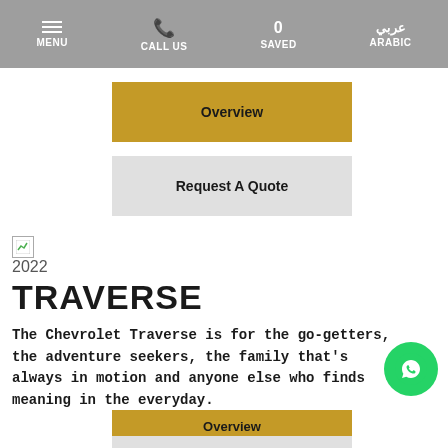MENU  CALL US  0 SAVED  ARABIC
Overview
Request A Quote
[Figure (logo): Chevrolet logo placeholder image]
2022
TRAVERSE
The Chevrolet Traverse is for the go-getters, the adventure seekers, the family that's always in motion and anyone else who finds meaning in the everyday.
Overview